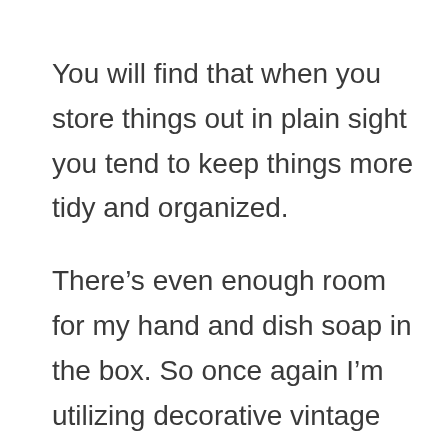You will find that when you store things out in plain sight you tend to keep things more tidy and organized.
There’s even enough room for my hand and dish soap in the box. So once again I’m utilizing decorative vintage boxes to store what I need in my everyday life.